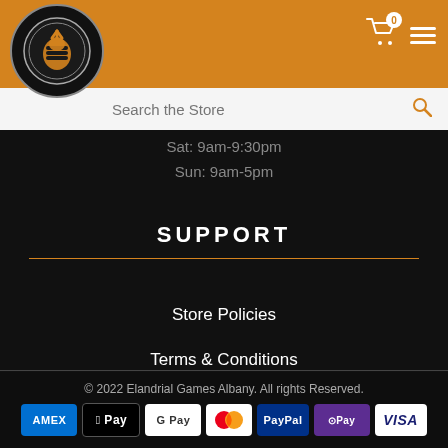Elandrial Games Albany store header with logo, cart icon, and menu
Search the Store
Sat: 9am-9:30pm
Sun: 9am-5pm
SUPPORT
Store Policies
Terms & Conditions
© 2022 Elandrial Games Albany. All rights Reserved. Payment icons: AMEX, Apple Pay, Google Pay, Mastercard, PayPal, OPay, VISA